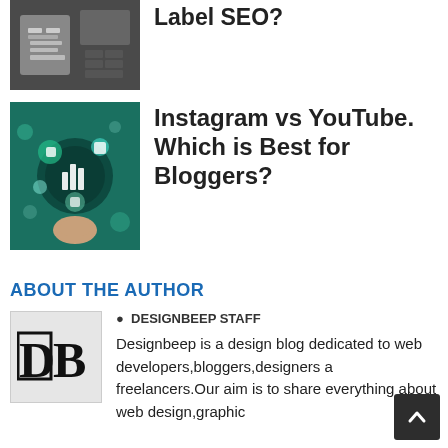[Figure (photo): Thumbnail image of marketing/SEO content showing a calculator or phone with marketing materials]
Label SEO?
[Figure (photo): Thumbnail image showing social media/digital marketing with glowing icons on a smartphone screen]
Instagram vs YouTube. Which is Best for Bloggers?
ABOUT THE AUTHOR
[Figure (logo): DB logo for Designbeep - black letters DB in serif style on light gray background]
DESIGNBEEP STAFF
Designbeep is a design blog dedicated to web developers,bloggers,designers and freelancers.Our aim is to share everything about web design,graphic